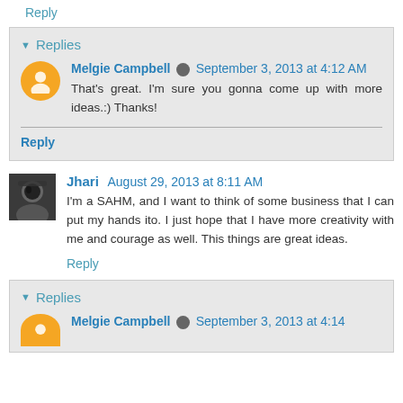Reply
▼ Replies
Melgie Campbell  September 3, 2013 at 4:12 AM
That's great. I'm sure you gonna come up with more ideas.:) Thanks!
Reply
Jhari  August 29, 2013 at 8:11 AM
I'm a SAHM, and I want to think of some business that I can put my hands ito. I just hope that I have more creativity with me and courage as well. This things are great ideas.
Reply
▼ Replies
Melgie Campbell  September 3, 2013 at 4:14